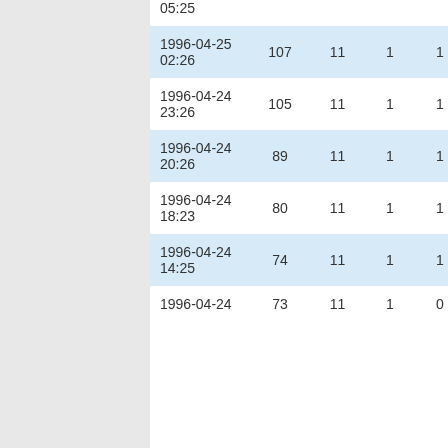| Date | Col1 | Col2 | Col3 | Col4 |
| --- | --- | --- | --- | --- |
| 1996-04-25 02:26 | 107 | 11 | 1 | 1 |
| 1996-04-24 23:26 | 105 | 11 | 1 | 1 |
| 1996-04-24 20:26 | 89 | 11 | 1 | 1 |
| 1996-04-24 18:23 | 80 | 11 | 1 | 1 |
| 1996-04-24 14:25 | 74 | 11 | 1 | 1 |
| 1996-04-24 | 73 | 11 | 1 | 0 |